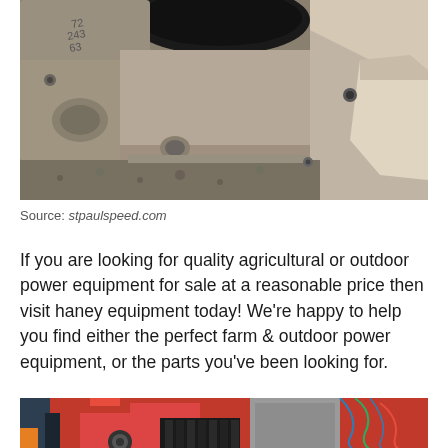[Figure (photo): Close-up photo of a metal engine component, showing a throttle body or intake manifold with metallic surfaces, bolts, and machined parts against a gritty background.]
Source: stpaulspeed.com
If you are looking for quality agricultural or outdoor power equipment for sale at a reasonable price then visit haney equipment today! We're happy to help you find either the perfect farm & outdoor power equipment, or the parts you've been looking for.
[Figure (photo): Partial photo showing red outdoor power equipment (lawn mowers or similar machinery) with visible handles, wheels, and mechanical components.]